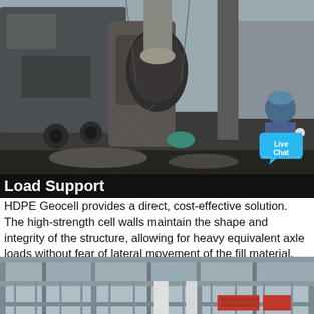[Figure (photo): Industrial machinery scene: large cement mixer or industrial equipment with chains and conveyor belts, a worker in blue hard hat visible on the right side, outdoor construction/mining site]
Load Support
HDPE Geocell provides a direct, cost-effective solution. The high-strength cell walls maintain the shape and integrity of the structure, allowing for heavy equivalent axle loads without fear of lateral movement of the fill material. The cellular design of Geocell also …
[Figure (photo): Construction scaffolding and steel structure framework of a building under construction, with red brick materials visible on the ground floor]